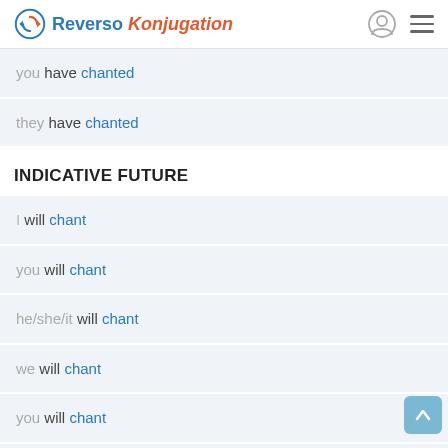Reverso Konjugation
you have chanted
they have chanted
INDICATIVE FUTURE
I will chant
you will chant
he/she/it will chant
we will chant
you will chant
they will chant
INDICATIVE FUTURE PERFECT